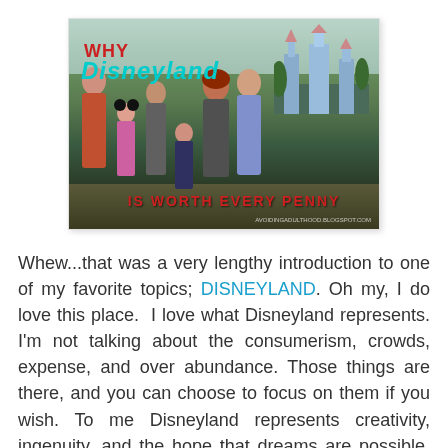[Figure (photo): A family photo taken at Disneyland in front of Sleeping Beauty Castle. The image has text overlays: 'WHY' in red at top left, 'Disneyland' in teal italic below it, and 'IS WORTH EVERY PENNY' in red at the bottom. A URL 'avoidingadulthood.blogspot.com' appears in the bottom right corner.]
Whew...that was a very lengthy introduction to one of my favorite topics; DISNEYLAND. Oh my, I do love this place.  I love what Disneyland represents. I'm not talking about the consumerism, crowds, expense, and over abundance. Those things are there, and you can choose to focus on them if you wish. To me Disneyland represents creativity, ingenuity, and the hope that dreams are possible. Each time I walk in the gates and through the tunnel under the railroad